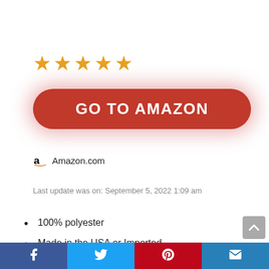[Figure (other): Five orange star rating icons]
[Figure (other): Red rounded button with white bold text GO TO AMAZON]
Amazon.com
Last update was on: September 5, 2022 1:09 am
100% polyester
Made in the USA or Imported
Includes one (1) outdoor wicker loveseat cushion, resists weather and fading in sunlight
Facebook | Twitter | Pinterest | Email